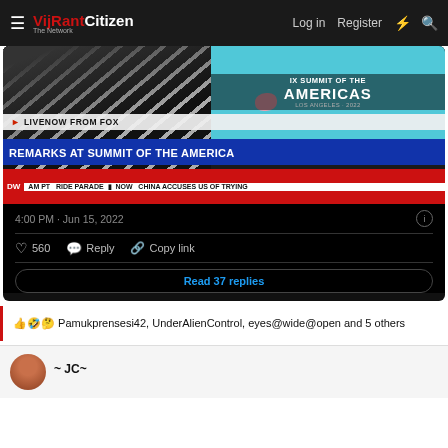VijRant Citizen — Log in   Register
[Figure (screenshot): Screenshot of a tweet embedding a Fox News broadcast showing 'REMARKS AT SUMMIT OF THE AMERICAS', dated 4:00 PM · Jun 15, 2022, with 560 likes and 37 replies]
Pamukprensesi42, UnderAlienControl, eyes@wide@open and 5 others
~ JC~